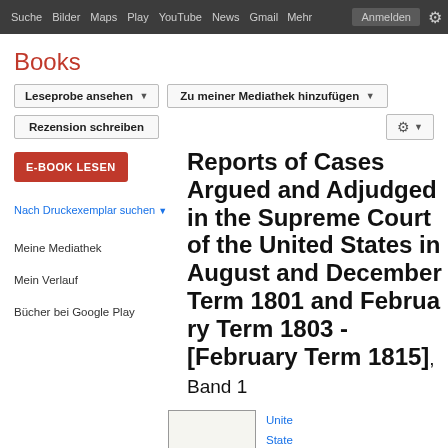Suche  Bilder  Maps  Play  YouTube  News  Gmail  Mehr  Anmelden
Books
Leseprobe ansehen
Zu meiner Mediathek hinzufügen
Rezension schreiben
E-BOOK LESEN
Nach Druckexemplar suchen ▼
Meine Mediathek
Mein Verlauf
Bücher bei Google Play
Reports of Cases Argued and Adjudged in the Supreme Court of the United States in August and December Term 1801 and February Term 1803 - [February Term 1815], Band 1
[Figure (photo): Thumbnail of book cover showing 'CASES CITED' text]
Unite State